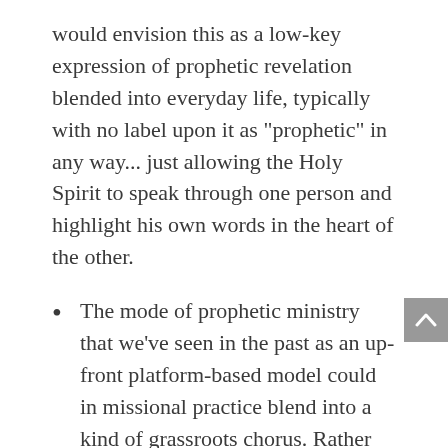would envision this as a low-key expression of prophetic revelation blended into everyday life, typically with no label upon it as "prophetic" in any way... just allowing the Holy Spirit to speak through one person and highlight his own words in the heart of the other.
The mode of prophetic ministry that we've seen in the past as an up-front platform-based model could in missional practice blend into a kind of grassroots chorus. Rather than a single "superstar" speaking "the word of the Lord" with any kind of assumed authority, we would instead see multiple voices beginning to say the